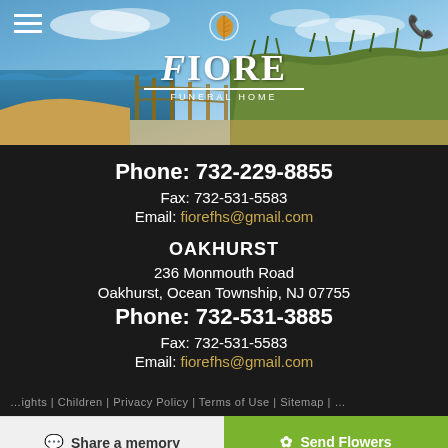[Figure (photo): Fiore Funeral Home logo and header with beach coastal background showing ocean, wooden fence, and grass dunes. Hamburger menu icon on left, phone icon on right. Logo features orange leaf, 'FIORE' in large serif text, decorative underline, and 'FUNERAL HOME' subtitle.]
Phone: 732-229-8855
Fax: 732-531-5583
Email: fiorefhs@gmail.com
OAKHURST
236 Monmouth Road
Oakhurst, Ocean Township, NJ 07755
Phone: 732-531-3885
Fax: 732-531-5583
Email: fiorefhs@gmail.com
… | Children | Privacy Policy | Terms of Use | Sitemap | …
Share a memory
Send Flowers